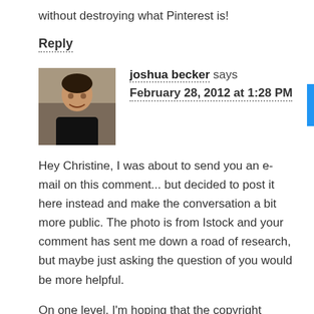without destroying what Pinterest is!
Reply
[Figure (photo): Headshot photo of Joshua Becker, a man in a dark shirt against a stone wall background]
joshua becker says
February 28, 2012 at 1:28 PM
Hey Christine, I was about to send you an e-mail on this comment... but decided to post it here instead and make the conversation a bit more public. The photo is from Istock and your comment has sent me down a road of research, but maybe just asking the question of you would be more helpful.
On one level, I'm hoping that the copyright